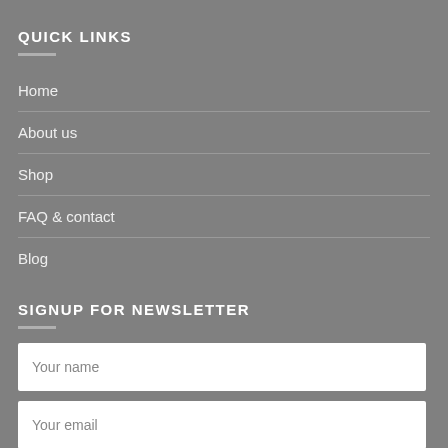QUICK LINKS
Home
About us
Shop
FAQ & contact
Blog
SIGNUP FOR NEWSLETTER
Your name
Your email